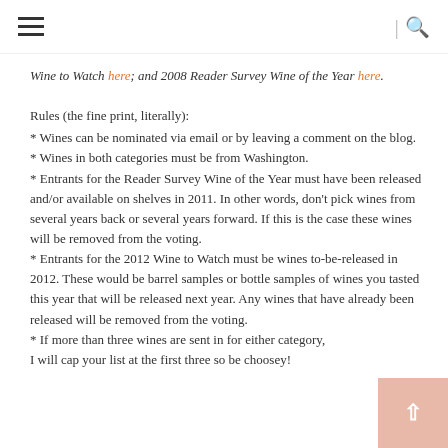[hamburger menu icon] | [search icon]
Wine to Watch here; and 2008 Reader Survey Wine of the Year here.
Rules (the fine print, literally):
* Wines can be nominated via email or by leaving a comment on the blog.
* Wines in both categories must be from Washington.
* Entrants for the Reader Survey Wine of the Year must have been released and/or available on shelves in 2011. In other words, don't pick wines from several years back or several years forward. If this is the case these wines will be removed from the voting.
* Entrants for the 2012 Wine to Watch must be wines to-be-released in 2012. These would be barrel samples or bottle samples of wines you tasted this year that will be released next year. Any wines that have already been released will be removed from the voting.
* If more than three wines are sent in for either category, I will cap your list at the first three so be choosey!